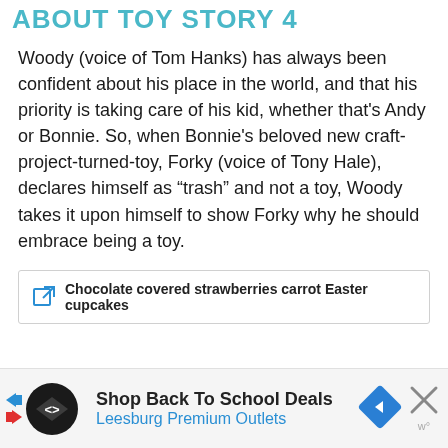ABOUT TOY STORY 4
Woody (voice of Tom Hanks) has always been confident about his place in the world, and that his priority is taking care of his kid, whether that's Andy or Bonnie. So, when Bonnie's beloved new craft-project-turned-toy, Forky (voice of Tony Hale), declares himself as “trash” and not a toy, Woody takes it upon himself to show Forky why he should embrace being a toy.
Chocolate covered strawberries carrot Easter cupcakes
[Figure (other): Advertisement banner: Shop Back To School Deals - Leesburg Premium Outlets with logo, diamond arrow icon, X close button and navigation arrows]